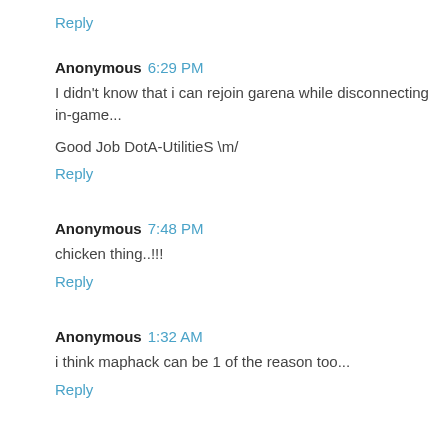Reply
Anonymous 6:29 PM
I didn't know that i can rejoin garena while disconnecting in-game...
Good Job DotA-UtilitieS \m/
Reply
Anonymous 7:48 PM
chicken thing..!!!
Reply
Anonymous 1:32 AM
i think maphack can be 1 of the reason too...
Reply